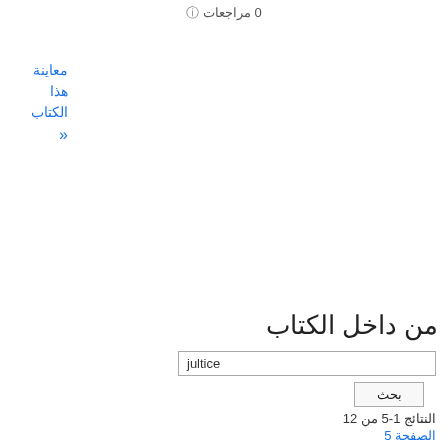0 مراجعات ⓘ
معاينة هذا الكتاب «
من داخل الكتاب
jultice  بحث  النتائج 1-5 من 12  الصفحة 5  Page Glasgow  Peasantry Gaming 18  174 Howard's Tavern  Hurricanes 35 38  Jamaica Jews Justices of the Peace Judge , Chief 33 , 42 65 IOI 102  Kingston 24 39 Lightning